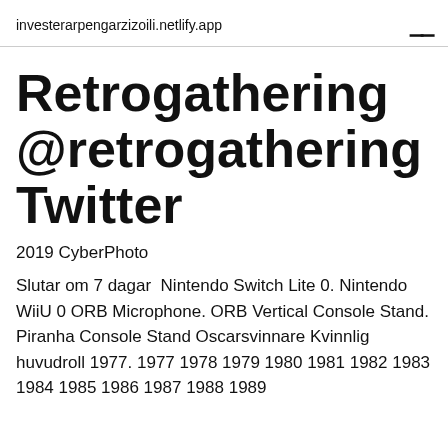investerarpengarzizoili.netlify.app
Retrogathering @retrogathering Twitter
2019 CyberPhoto
Slutar om 7 dagar  Nintendo Switch Lite 0. Nintendo WiiU 0 ORB Microphone. ORB Vertical Console Stand. Piranha Console Stand Oscarsvinnare Kvinnlig huvudroll 1977. 1977 1978 1979 1980 1981 1982 1983 1984 1985 1986 1987 1988 1989